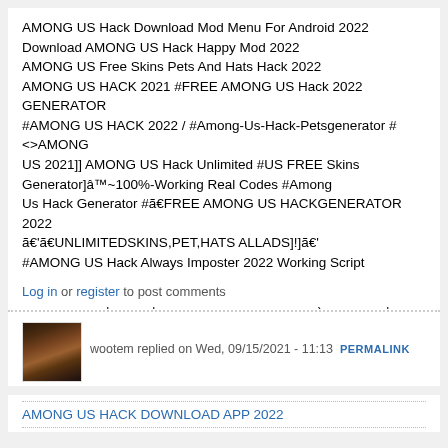AMONG US Hack Download Mod Menu For Android 2022
Download AMONG US Hack Happy Mod 2022
AMONG US Free Skins Pets And Hats Hack 2022
AMONG US HACK 2021 #FREE AMONG US Hack 2022 GENERATOR
#AMONG US HACK 2022 / #Among-Us-Hack-Petsgenerator #<>AMONG
US 2021]] AMONG US Hack Unlimited #US FREE Skins
Generator]â™~100%-Working Real Codes #Among
Us Hack Generator #ã€FREE AMONG US HACKGENERATOR 2022
ã€'ã€UNLIMITEDSKINS,PET,HATS ALLADS]!]ã€'
#AMONG US Hack Always Imposter 2022 Working Script #AMONG US
FREE SKINS | HATS | PETS GENERATOR 2021(Free-Skins|
Hats|Pets-In-AmongUS)ãœŒ #AMONG US Online Generator Free
Skins, Pets And Hats #AMONG US Generator, #US Hack]- #<>
AMONG-US-HACK-2022 ] #ãœŒUS SKINGENERATOR] Hack Å¶
Log in or register to post comments
[Figure (photo): Small avatar image showing what appears to be a brown/dark animal, likely a cat or similar pet]
wootem replied on Wed, 09/15/2021 - 11:13 PERMALINK
AMONG US HACK DOWNLOAD APP 2022